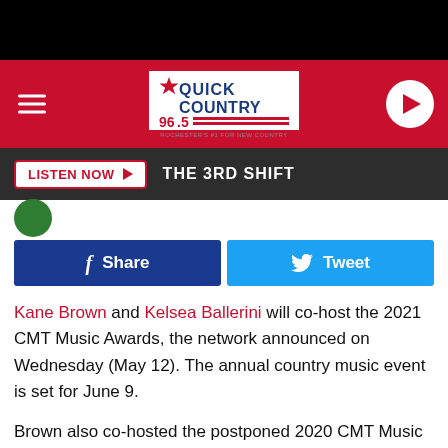[Figure (screenshot): Quick Country 96.5 radio station website header with logo, hamburger menu, and play button on a red background]
LISTEN NOW ▶  THE 3RD SHIFT
[Figure (other): Facebook Share and Twitter Tweet buttons]
Kane Brown and Kelsea Ballerini will co-host the 2021 CMT Music Awards, the network announced on Wednesday (May 12). The annual country music event is set for June 9.
Brown also co-hosted the postponed 2020 CMT Music Awards ceremony in October, with Ashley McBryde and actor Sarah Hyland, but it will be Ballerini's first time helming the awards show. Producers say in a press release that the "dynamic duo reflects the show's revitalized energy as live